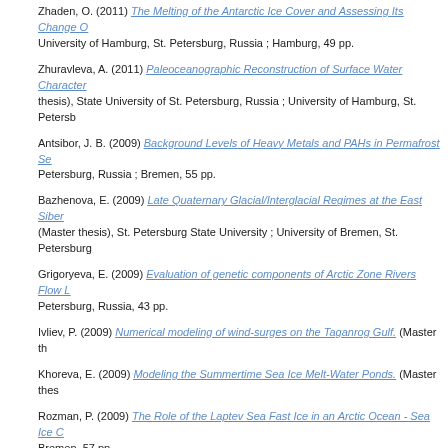Zhaden, O. (2011) The Melting of the Antarctic Ice Cover and Assessing Its Change O... University of Hamburg, St. Petersburg, Russia ; Hamburg, 49 pp.
Zhuravleva, A. (2011) Paleoceanographic Reconstruction of Surface Water Character... (thesis), State University of St. Petersburg, Russia ; University of Hamburg, St. Petersb...
Antsibor, J. B. (2009) Background Levels of Heavy Metals and PAHs in Permafrost Se... Petersburg, Russia ; Bremen, 55 pp.
Bazhenova, E. (2009) Late Quaternary Glacial/Interglacial Regimes at the East Siber... (Master thesis), St. Petersburg State University ; University of Bremen, St. Petersburg...
Grigoryeva, E. (2009) Evaluation of genetic components of Arctic Zone Rivers Flow L... Petersburg, Russia, 43 pp.
Ivliev, P. (2009) Numerical modeling of wind-surges on the Taganrog Gulf. (Master th...
Khoreva, E. (2009) Modeling the Summertime Sea Ice Melt-Water Ponds. (Master thes...
Rozman, P. (2009) The Role of the Laptev Sea Fast Ice in an Arctic Ocean - Sea Ice C... Bremen, 57 pp.
Ryndin, A. (2009) Mechanisms Controlling Gas Fractionation of Hydro-Thermally De... University], Bremen ; St. Petersburg, Russia, 57 pp.
Ryzhov, I. (2009) Long-Term Changes of Extreme Levels of Arctic Seas and Their Rea... pp.
Sergienko, I. (2009) The Recent Thermohaline Changes in Frontal Areas of the Lapte... Bremen ; [St. Petersburg State University], Bremen ; St. Petersburg, Russia, 42 pp.